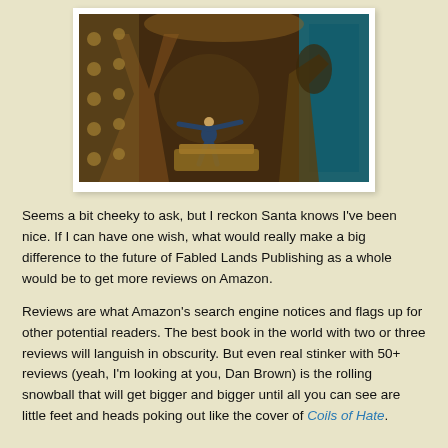[Figure (photo): A person standing with arms outstretched inside a steampunk/sci-fi interior with circular metallic panels, rivets, and teal/gold lighting — appears to be a Doctor Who TARDIS interior set.]
Seems a bit cheeky to ask, but I reckon Santa knows I've been nice. If I can have one wish, what would really make a big difference to the future of Fabled Lands Publishing as a whole would be to get more reviews on Amazon.
Reviews are what Amazon's search engine notices and flags up for other potential readers. The best book in the world with two or three reviews will languish in obscurity. But even real stinker with 50+ reviews (yeah, I'm looking at you, Dan Brown) is the rolling snowball that will get bigger and bigger until all you can see are little feet and heads poking out like the cover of Coils of Hate.